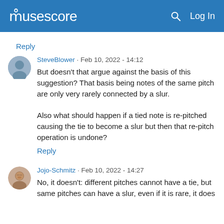musescore  Log In
Reply
SteveBlower · Feb 10, 2022 - 14:12
But doesn't that argue against the basis of this suggestion? That basis being notes of the same pitch are only very rarely connected by a slur.

Also what should happen if a tied note is re-pitched causing the tie to become a slur but then that re-pitch operation is undone?
Reply
Jojo-Schmitz · Feb 10, 2022 - 14:27
No, it doesn't: different pitches cannot have a tie, but same pitches can have a slur, even if it is rare, it does